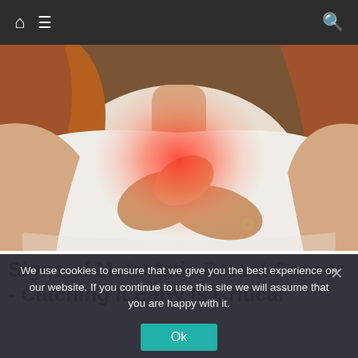Navigation bar with home icon, menu icon, and search icon
[Figure (photo): A woman in a white t-shirt holding her chest/breast area with both hands, with a reddish glow/highlight indicating pain or discomfort in the breast area, sitting on a brown couch]
Signs of Metastatic Breast Cancer - Catching It Early Is Critical
We use cookies to ensure that we give you the best experience on our website. If you continue to use this site we will assume that you are happy with it.